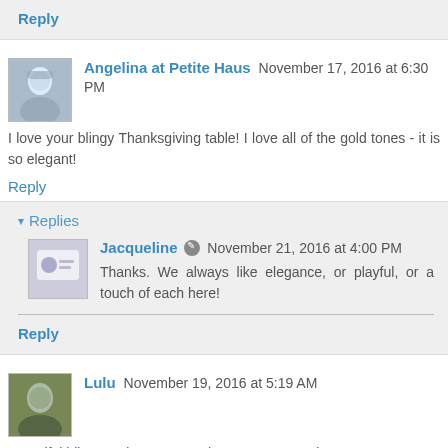Reply
Angelina at Petite Haus  November 17, 2016 at 6:30 PM
I love your blingy Thanksgiving table! I love all of the gold tones - it is so elegant!
Reply
Replies
Jacqueline  November 21, 2016 at 4:00 PM
Thanks. We always like elegance, or playful, or a touch of each here!
Reply
Lulu  November 19, 2016 at 5:19 AM
Beautiful bling as always. My turkeys are orange, but I